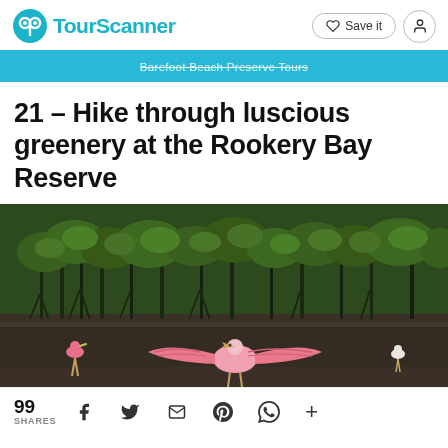TourScanner — Save it
[Figure (screenshot): Blue banner with partially visible text 'Barefoot Beach Preserve Tours']
21 – Hike through luscious greenery at the Rookery Bay Reserve
[Figure (photo): Photo of pink roseate spoonbill birds spreading wings in front of a mangrove forest backdrop at Rookery Bay Reserve]
99 SHARES  f  Twitter  Email  Pinterest  WhatsApp  +